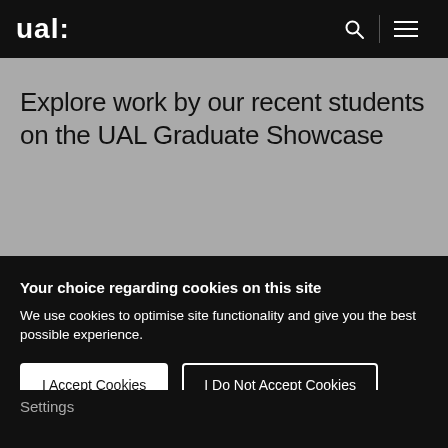ual:
Explore work by our recent students on the UAL Graduate Showcase
Your choice regarding cookies on this site
We use cookies to optimise site functionality and give you the best possible experience.
I Accept Cookies
I Do Not Accept Cookies
Settings